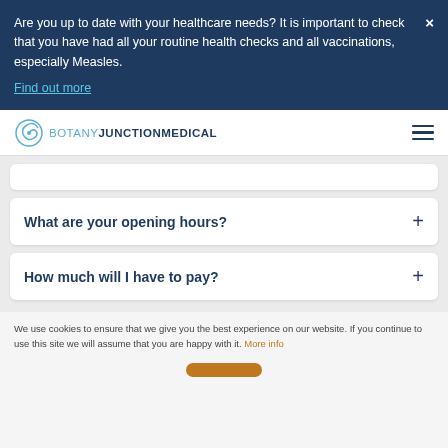Are you up to date with your healthcare needs? It is important to check that you have had all your routine health checks and all vaccinations, especially Measles. Find out more
BOTANY JUNCTION MEDICAL
What are your opening hours?
How much will I have to pay?
We use cookies to ensure that we give you the best experience on our website. If you continue to use this site we will assume that you are happy with it. More info